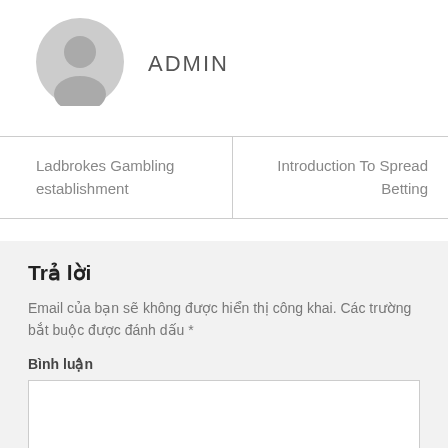[Figure (illustration): Generic user avatar icon — gray circle with person silhouette]
ADMIN
Ladbrokes Gambling establishment
Introduction To Spread Betting
Trả lời
Email của bạn sẽ không được hiển thị công khai. Các trường bắt buộc được đánh dấu *
Bình luận